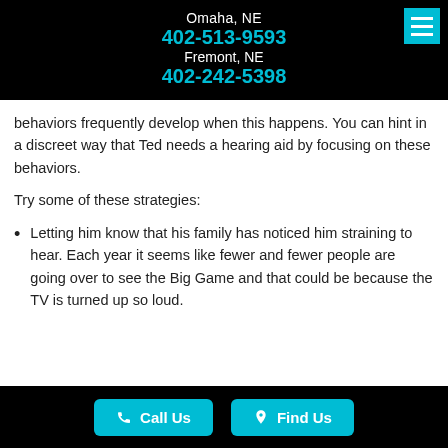Omaha, NE
402-513-9593
Fremont, NE
402-242-5398
behaviors frequently develop when this happens. You can hint in a discreet way that Ted needs a hearing aid by focusing on these behaviors.
Try some of these strategies:
Letting him know that his family has noticed him straining to hear. Each year it seems like fewer and fewer people are going over to see the Big Game and that could be because the TV is turned up so loud.
Call Us   Find Us